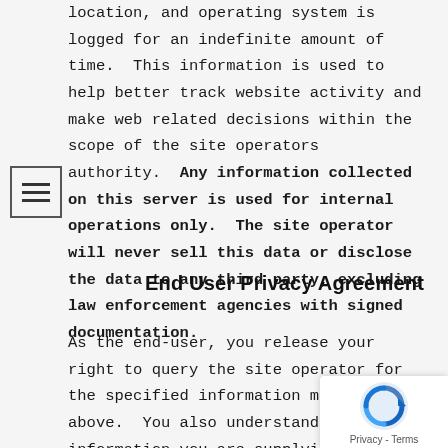location, and operating system is logged for an indefinite amount of time.  This information is used to help better track website activity and make web related decisions within the scope of the site operators authority.  Any information collected on this server is used for internal operations only.  The site operator will never sell this data or disclose the data to any third party, excluding law enforcement agencies with signed documentation.
End User Privacy Agreement
As the end-user, you release your right to query the site operator for the specified information mentioned above.  You also understand that the information you are supplying is kept confidential and is not released to anyone excluding local law enforcement agencies should the information be solicited.  Lastly, you understand that continued use of this website implies